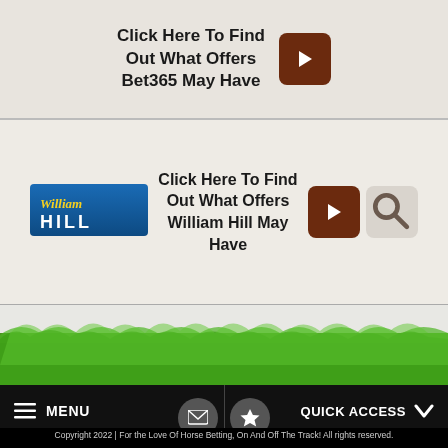Click Here To Find Out What Offers Bet365 May Have
[Figure (logo): William Hill logo - blue rectangle with white text]
Click Here To Find Out What Offers William Hill May Have
[Figure (photo): Green grass / turf strip background image]
MENU
QUICK ACCESS
[Figure (infographic): Email icon circle button]
[Figure (infographic): Star/favourite icon circle button]
Copyright 2022 | For the Love Of Horse Betting, On And Off The Track! All rights reserved.